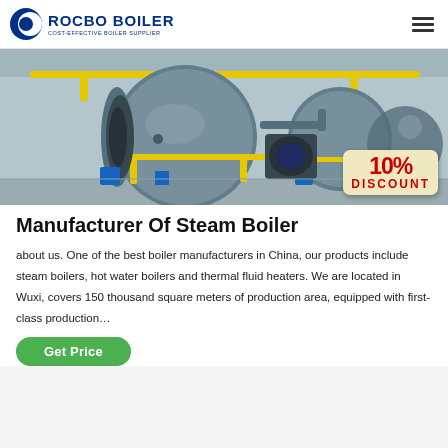ROCBO BOILER — COST-EFFECTIVE BOILER SUPPLIER
[Figure (photo): Industrial steam boilers in a factory setting. Two large cylindrical boilers with yellow piping. A '10% DISCOUNT' badge is overlaid on the bottom right.]
Manufacturer Of Steam Boiler
about us. One of the best boiler manufacturers in China, our products include steam boilers, hot water boilers and thermal fluid heaters. We are located in Wuxi, covers 150 thousand square meters of production area, equipped with first-class production…
Get Price